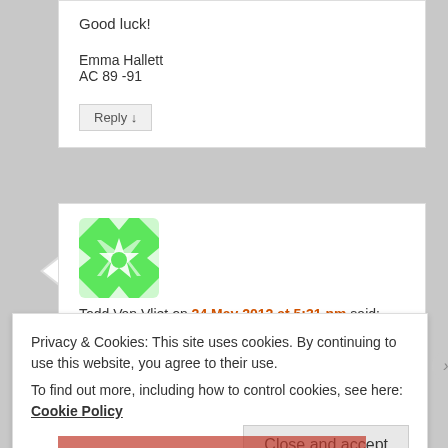Good luck!
Emma Hallett
AC 89 -91
Reply ↓
[Figure (illustration): Green geometric avatar with white snowflake/star pattern]
Todd Van Vliet on 24 May 2012 at 5:31 pm said:
Privacy & Cookies: This site uses cookies. By continuing to use this website, you agree to their use.
To find out more, including how to control cookies, see here: Cookie Policy
Close and accept